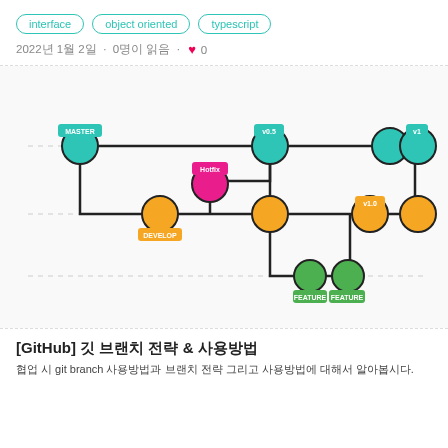interface   object oriented   typescript
2022년 1월 2일 · 0명이 읽음 · ♥ 0
[Figure (flowchart): Git branch diagram showing MASTER, DEVELOPER, FEATURE, and release branches (v0.5, v1.0, v1) with colored nodes (teal, orange, pink, green) and connecting lines illustrating branching and merging workflow.]
[GitHub] 깃 브랜치 전략 & 사용방법
협업 시 git branch 사용방법과 브랜치 전략 그리고 사용방법에 대해서 알아봅시다.